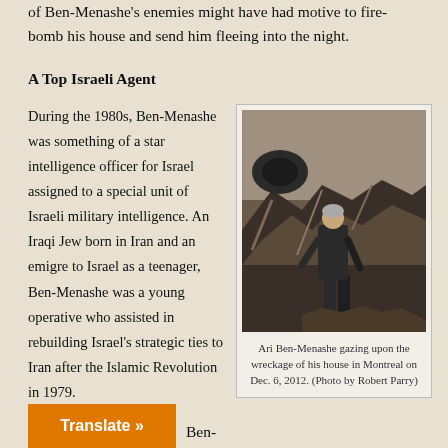of Ben-Menashe's enemies might have had motive to fire-bomb his house and send him fleeing into the night.
A Top Israeli Agent
During the 1980s, Ben-Menashe was something of a star intelligence officer for Israel assigned to a special unit of Israeli military intelligence. An Iraqi Jew born in Iran and an emigre to Israel as a teenager, Ben-Menashe was a young operative who assisted in rebuilding Israel's strategic ties to Iran after the Islamic Revolution in 1979.
[Figure (photo): Ari Ben-Menashe standing with his back to the camera, viewing the wreckage of his fire-bombed house, rubble and burned debris visible around him.]
Ari Ben-Menashe gazing upon the wreckage of his house in Montreal on Dec. 6, 2012. (Photo by Robert Parry)
Ben-